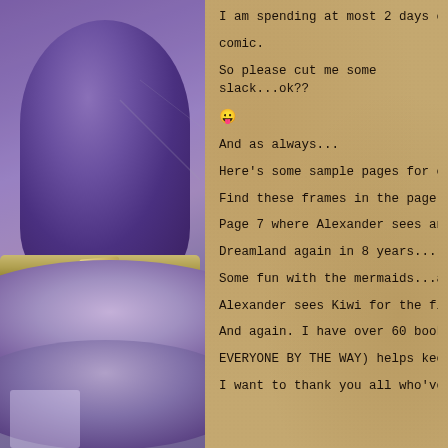[Figure (illustration): Left half of page shows a cartoon/anime-style character illustration featuring a large purple witch hat with a gold/yellow band, set against a purple-gray background. The hat dominates the left panel with rounded brim shapes in purple tones.]
I am spending at most 2 days on thes comic.
So please cut me some slack...ok??
😛
And as always...
Here's some sample pages for our no
Find these frames in the page and clic
Page 7 where Alexander sees an open Dreamland again in 8 years...
Some fun with the mermaids...and Ale
Alexander sees Kiwi for the first time
And again. I have over 60 books up on EVERYONE BY THE WAY) helps keep Dre
I want to thank you all who've suppor